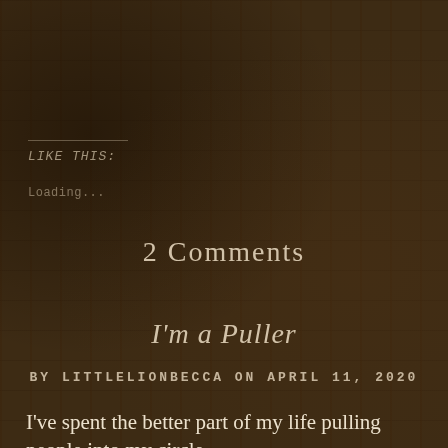LIKE THIS:
Loading...
2 Comments
I'm a Puller
BY LITTLELIONBECCA ON APRIL 11, 2020
I've spent the better part of my life pulling people into my circle.